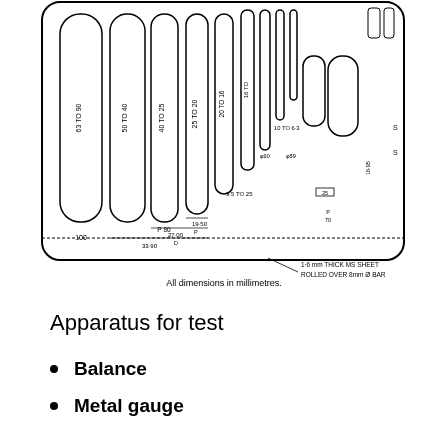[Figure (engineering-diagram): Technical drawing of a metal gauge/sieve with multiple slots of varying widths. Dimensions labeled in millimetres including slots ranging from 6.3 to 90 mm. Note reads '1.6 mm THICK MS SHEET ROLLED OVER 8mm Ø BAR'. Various dimensional annotations shown: 63 TO 90, 50 TO 40, 40 TO 25, 25 TO 20, 20 TO 16, 16 TO 10, 10 TO 6.3, 3.5 TO 25, 19-50, 27-00, 33-90, and others.]
All dimensions in millimetres.
Apparatus for test
Balance
Metal gauge